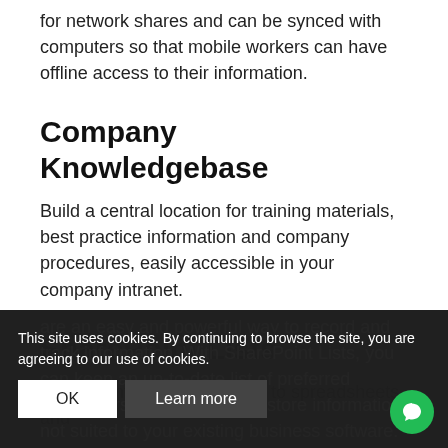for network shares and can be synced with computers so that mobile workers can have offline access to their information.
Company Knowledgebase
Build a central location for training materials, best practice information and company procedures, easily accessible in your company intranet.
SharePoint Lists
SharePoint Lists look similar to spreadsheets and are an easy and powerful way to record and track information. With SharePoint Lists, you can keep an up-to-date list of preferred contractors and contacts, or store information not suited to your existing business software. Setting
This site uses cookies. By continuing to browse the site, you are agreeing to our use of cookies.